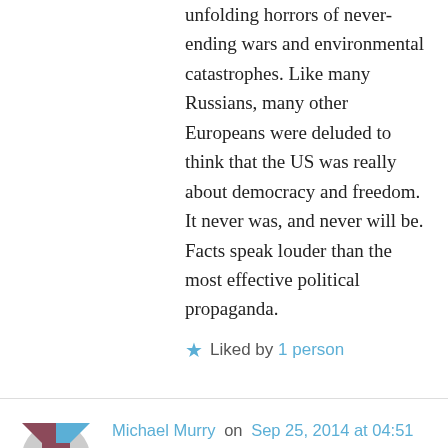unfolding horrors of never-ending wars and environmental catastrophes. Like many Russians, many other Europeans were deluded to think that the US was really about democracy and freedom. It never was, and never will be. Facts speak louder than the most effective political propaganda.
Liked by 1 person
Michael Murry on Sep 25, 2014 at 04:51
Thank you for an excellent and heartfelt essay. As a 67-year-old American veteran of the U.S. War on Southeast Asia (Vietnam, Cambodia, and Laos), I feel deeply ashamed of what my country did to so many millions of innocent